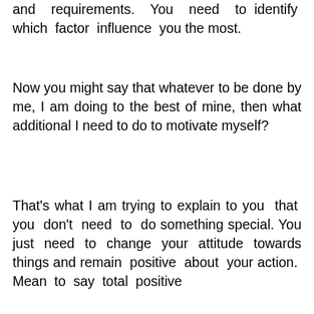and requirements. You need to identify which factor influence you the most.
Now you might say that whatever to be done by me, I am doing to the best of mine, then what additional I need to do to motivate myself?
That’s what I am trying to explain to you that you don’t need to do something special. You just need to change your attitude towards things and remain positive about your action. Mean to say total positive